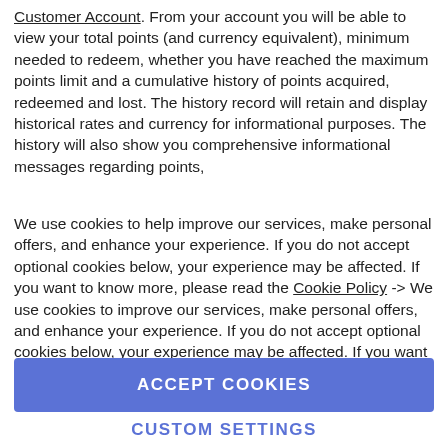Customer Account. From your account you will be able to view your total points (and currency equivalent), minimum needed to redeem, whether you have reached the maximum points limit and a cumulative history of points acquired, redeemed and lost. The history record will retain and display historical rates and currency for informational purposes. The history will also show you comprehensive informational messages regarding points,
We use cookies to help improve our services, make personal offers, and enhance your experience. If you do not accept optional cookies below, your experience may be affected. If you want to know more, please read the Cookie Policy -> We use cookies to improve our services, make personal offers, and enhance your experience. If you do not accept optional cookies below, your experience may be affected. If you want to know more, please.
ACCEPT COOKIES
CUSTOM SETTINGS